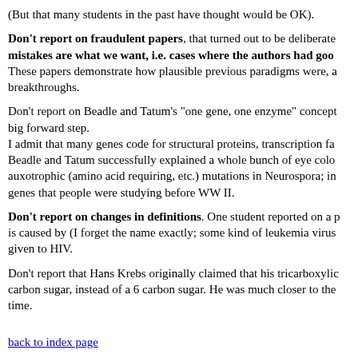(But that many students in the past have thought would be OK).
Don't report on fraudulent papers, that turned out to be deliberate mistakes are what we want, i.e. cases where the authors had good These papers demonstrate how plausible previous paradigms were, and breakthroughs.
Don't report on Beadle and Tatum's "one gene, one enzyme" concept big forward step. I admit that many genes code for structural proteins, transcription fa Beadle and Tatum successfully explained a whole bunch of eye colo auxotrophic (amino acid requiring, etc.) mutations in Neurospora; in genes that people were studying before WW II.
Don't report on changes in definitions. One student reported on a p is caused by (I forget the name exactly; some kind of leukemia virus given to HIV.
Don't report that Hans Krebs originally claimed that his tricarboxylic carbon sugar, instead of a 6 carbon sugar. He was much closer to the time.
back to index page